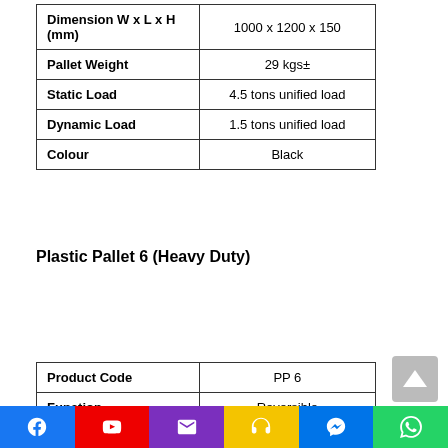|  |  |
| --- | --- |
| Dimension W x L x H (mm) | 1000 x 1200 x 150 |
| Pallet Weight | 29 kgs± |
| Static Load | 4.5 tons unified load |
| Dynamic Load | 1.5 tons unified load |
| Colour | Black |
Plastic Pallet 6 (Heavy Duty)
|  |  |
| --- | --- |
| Product Code | PP 6 |
| Function | Reversible |